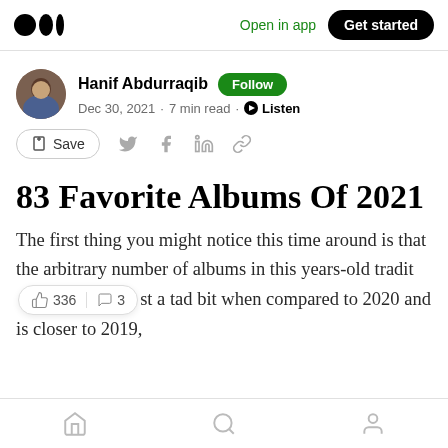Medium logo | Open in app | Get started
Hanif Abdurraqib · Follow · Dec 30, 2021 · 7 min read · Listen
Save (social share icons)
83 Favorite Albums Of 2021
The first thing you might notice this time around is that the arbitrary number of albums in this years-old traditi... 336 claps | 3 comments ...st a tad bit when compared to 2020 and is closer to 2019,
Home | Search | Profile